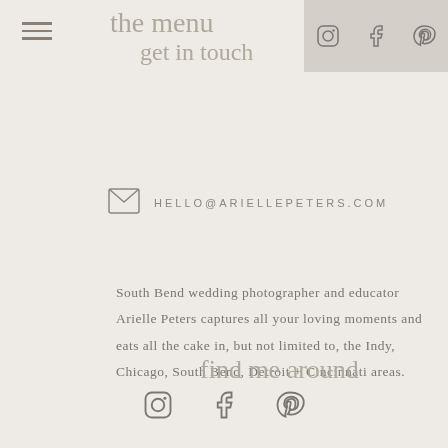the menu / get in touch
[Figure (logo): Social media icons: Instagram, Facebook, Pinterest in gray box top right]
[Figure (illustration): Envelope/mail icon]
HELLO@ARIELLEPETERS.COM
South Bend wedding photographer and educator Arielle Peters captures all your loving moments and eats all the cake in, but not limited to, the Indy, Chicago, South Bend, Detroit + Cincinnati areas.
find me around
[Figure (illustration): Social media icons: Instagram, Facebook, Pinterest at bottom center]